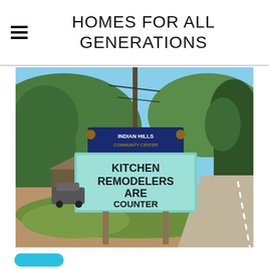HOMES FOR ALL GENERATIONS
[Figure (photo): Outdoor photo of Indian Hills Community Center sign reading 'KITCHEN REMODELERS ARE COUNTER PRODUCTIVE' on a teal/green marquee board, with trees, mountains, and a road visible in the background.]